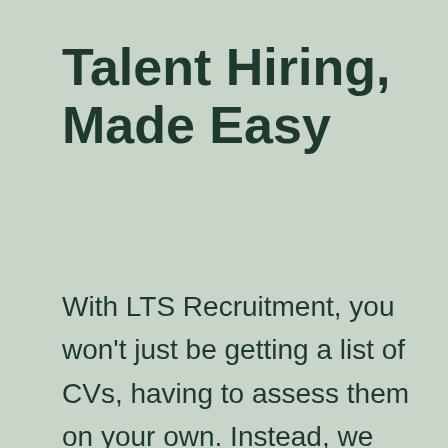Talent Hiring, Made Easy
With LTS Recruitment, you won't just be getting a list of CVs, having to assess them on your own. Instead, we discover and vet trained web professionals capable of making a difference. With us, you're getting an all-in-one long-